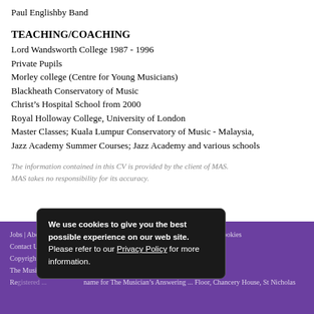Paul Englishby Band
TEACHING/COACHING
Lord Wandsworth College 1987 - 1996
Private Pupils
Morley college (Centre for Young Musicians)
Blackheath Conservatory of Music
Christ's Hospital School from 2000
Royal Holloway College, University of London
Master Classes; Kuala Lumpur Conservatory of Music - Malaysia,
Jazz Academy Summer Courses; Jazz Academy and various schools
The information contained in this CV is provided by the client of MAS. MAS takes no responsibility for its accuracy.
Jobs | About Us | How we work | Terms & Conditions  Privacy Policy and Cookies
Contact Us
Copyright notice
The Musician's Answering Service
Registered... name for The Musician's Answering ... Floor, Chancery House, St Nicholas